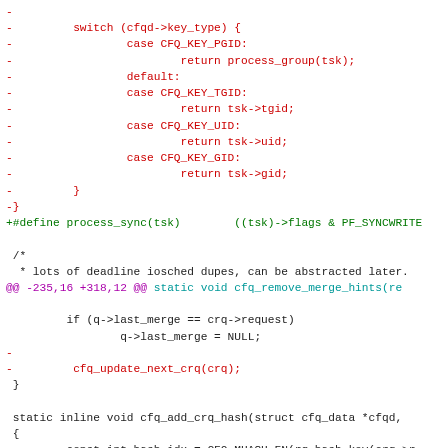[Figure (screenshot): Source code diff showing removal of a switch statement and addition of a #define macro, plus function code for cfq_remove_merge_hints and cfq_add_crq_hash in C programming language.]